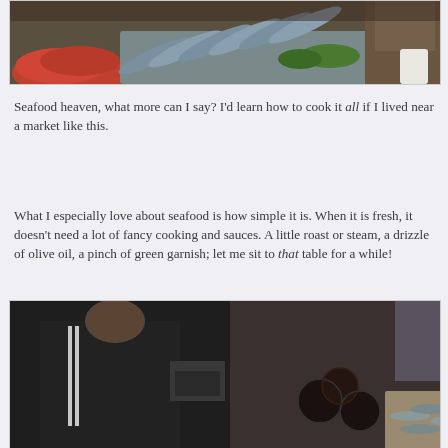[Figure (photo): Fish market display showing various seafood including shrimp, sardines/mackerel arranged on ice with green garnish, a person visible in background holding a bag]
Seafood heaven, what more can I say? I'd learn how to cook it all if I lived near a market like this.
What I especially love about seafood is how simple it is. When it is fresh, it doesn't need a lot of fancy cooking and sauces. A little roast or steam, a drizzle of olive oil, a pinch of green garnish; let me sit to that table for a while!
[Figure (photo): Fish market vendor/stall showing a man in dark jacket standing next to display boxes with seafood including dark round shellfish and small fish in wooden crates]